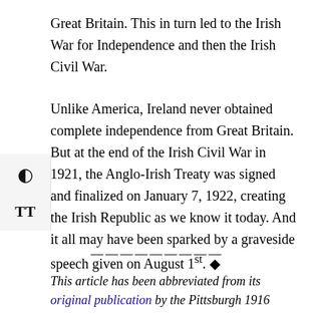Great Britain. This in turn led to the Irish War for Independence and then the Irish Civil War.
Unlike America, Ireland never obtained complete independence from Great Britain. But at the end of the Irish Civil War in 1921, the Anglo-Irish Treaty was signed and finalized on January 7, 1922, creating the Irish Republic as we know it today. And it all may have been sparked by a graveside speech given on August 1st. ◆
——————————
This article has been abbreviated from its original publication by the Pittsburgh 1916